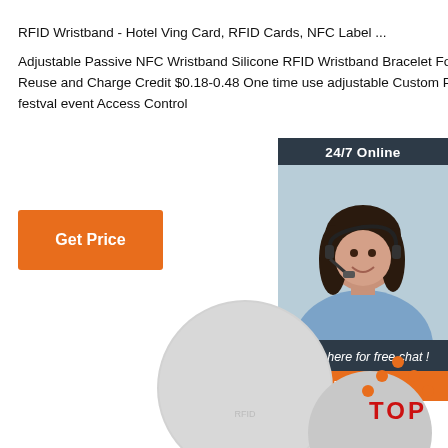RFID Wristband - Hotel Ving Card, RFID Cards, NFC Label ...
Adjustable Passive NFC Wristband Silicone RFID Wristband Bracelet For NFC payment Reuse and Charge Credit $0.18-0.48 One time use adjustable Custom Passive rfid woven for festval event Access Control
Get Price
[Figure (photo): Customer service representative with headset, 24/7 Online chat widget with QUOTATION button]
[Figure (photo): Round gray RFID disk/coin tag product photos]
[Figure (logo): TOP logo with orange dots arranged in triangle above red TOP text]